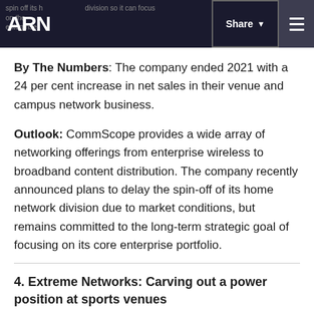spin off its home network division so it can focus on the enterprise... ARN | Share | Menu
By The Numbers: The company ended 2021 with a 24 per cent increase in net sales in their venue and campus network business.
Outlook: CommScope provides a wide array of networking offerings from enterprise wireless to broadband content distribution. The company recently announced plans to delay the spin-off of its home network division due to market conditions, but remains committed to the long-term strategic goal of focusing on its core enterprise portfolio.
4. Extreme Networks: Carving out a power position at sports venues